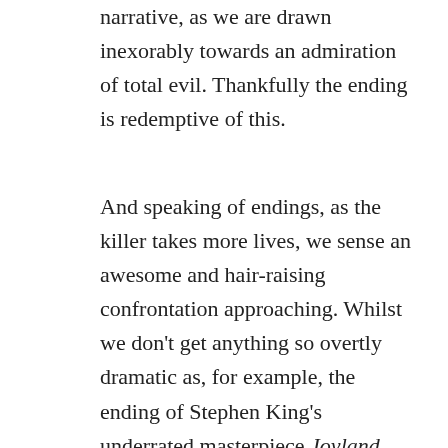narrative, as we are drawn inexorably towards an admiration of total evil. Thankfully the ending is redemptive of this.
And speaking of endings, as the killer takes more lives, we sense an awesome and hair-raising confrontation approaching. Whilst we don’t get anything so overtly dramatic as, for example, the ending of Stephen King’s underrated masterpiece Joyland, like Dante, we do get a confrontation with pure evil, a moment where we look the Devil in the eye at the nadir—the inverse apex—of existence. This final “interview” is harrowing reading, brilliantly written, and clearly inspired by the likes of Bundy and Gein. One also senses a Tolkien-esque philosophy behind the narrative: